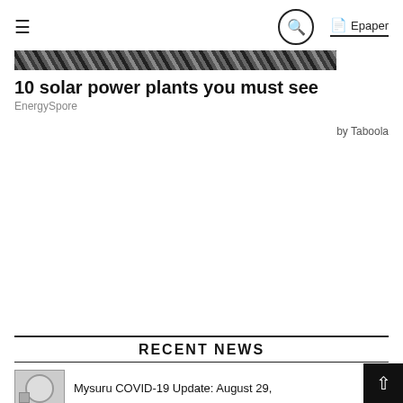≡  🔍  Epaper
[Figure (photo): Dark textured banner image showing solar panels or similar pattern, used as article thumbnail]
10 solar power plants you must see
EnergySpore
by Taboola
RECENT NEWS
Mysuru COVID-19 Update: August 29,